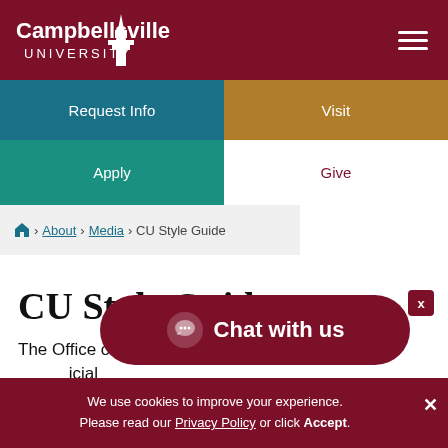[Figure (logo): Campbellsville University logo in white on dark red/maroon header bar]
Request Info
Visit
Apply
Give
🏠 › About › Media › CU Style Guide
CU Style Guide
The Office of University Co... ...icial
[Figure (other): Chat with us widget - dark red rounded pill button with chat bubble icon]
We use cookies to improve your experience. Please read our Privacy Policy or click Accept.